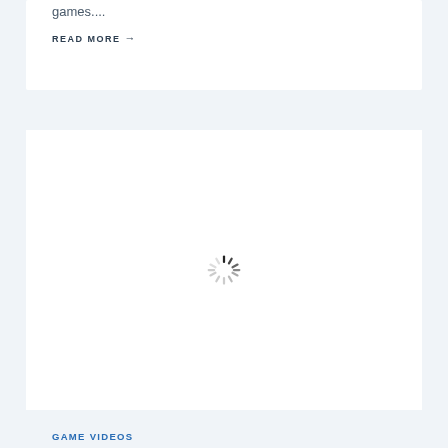games....
READ MORE →
[Figure (screenshot): Loading spinner (circular animated loader) centered in a white card area]
GAME VIDEOS